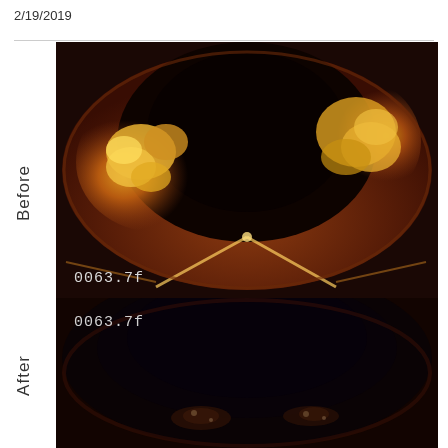2/19/2019
Before
[Figure (photo): Endoscopic or pipe inspection image labeled 'Before' showing interior of a pipe or duct with heavy buildup/corrosion deposits visible. Timestamp overlay reads '0063.7f'.]
After
[Figure (photo): Endoscopic or pipe inspection image labeled 'After' showing interior of the same pipe or duct after cleaning, with significantly less buildup visible. Timestamp overlay reads '0063.7f'.]